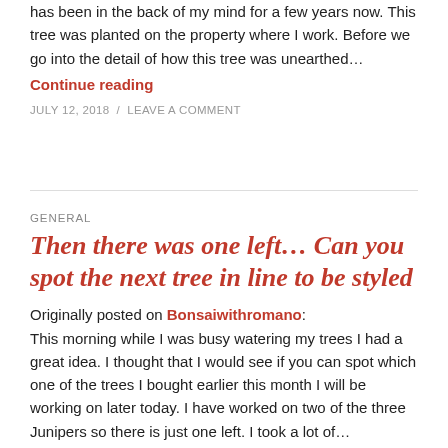has been in the back of my mind for a few years now. This tree was planted on the property where I work. Before we go into the detail of how this tree was unearthed…
Continue reading
JULY 12, 2018 / LEAVE A COMMENT
GENERAL
Then there was one left… Can you spot the next tree in line to be styled
Originally posted on Bonsaiwithromano: This morning while I was busy watering my trees I had a great idea. I thought that I would see if you can spot which one of the trees I bought earlier this month I will be working on later today. I have worked on two of the three Junipers so there is just one left. I took a lot of…
Continue reading